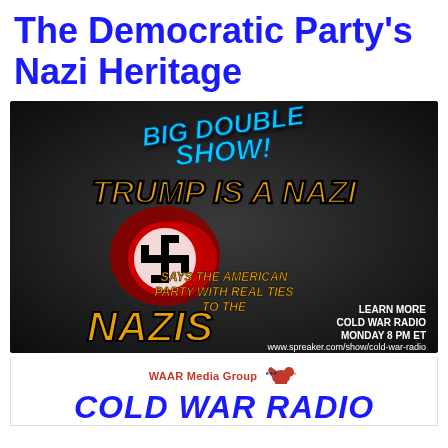The Democratic Party's Nazi Heritage
[Figure (illustration): Dark promotional graphic for 'Big Double Show!' radio segment with text 'Trump Is A Nazi says the American Party with Real Ties to the Nazis' — featuring a donkey figure with a swastika flag, gold and blue text on dark background. Includes 'Learn More Cold War Radio Monday 8 PM ET www.spreaker.com/show/cold-war-radio']
[Figure (logo): WAAR Media Group logo with eagle graphic and 'COLD WAR RADIO' text in bold blue italic]